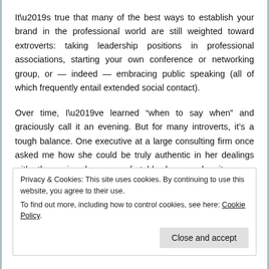It’s true that many of the best ways to establish your brand in the professional world are still weighted toward extroverts: taking leadership positions in professional associations, starting your own conference or networking group, or — indeed — embracing public speaking (all of which frequently entail extended social contact).
Over time, I’ve learned “when to say when” and graciously call it an evening. But for many introverts, it’s a tough balance. One executive at a large consulting firm once asked me how she could be truly authentic in her dealings with others, given how uncomfortable she was when it
Privacy & Cookies: This site uses cookies. By continuing to use this website, you agree to their use.
To find out more, including how to control cookies, see here: Cookie Policy